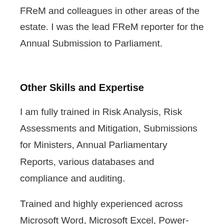FReM and colleagues in other areas of the estate. I was the lead FReM reporter for the Annual Submission to Parliament.
Other Skills and Expertise
I am fully trained in Risk Analysis, Risk Assessments and Mitigation, Submissions for Ministers, Annual Parliamentary Reports, various databases and compliance and auditing.
Trained and highly experienced across Microsoft Word, Microsoft Excel, Power-